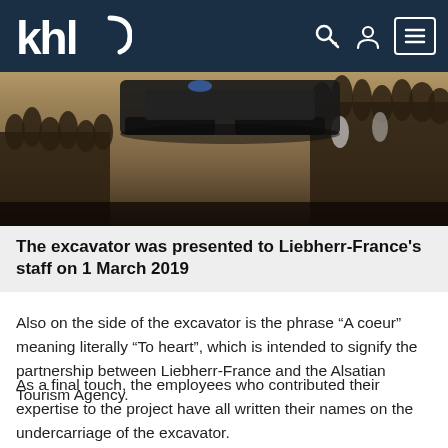khl
[Figure (photo): Aerial/overhead view of a large excavator being presented to a crowd of people in an indoor space with a sandy/dirt floor]
The excavator was presented to Liebherr-France's staff on 1 March 2019
Also on the side of the excavator is the phrase “A coeur” meaning literally “To heart”, which is intended to signify the partnership between Liebherr-France and the Alsatian Tourism Agency.
As a final touch, the employees who contributed their expertise to the project have all written their names on the undercarriage of the excavator.
The excavator model that this special edition has been based on, is shipped globally – from the mines in South